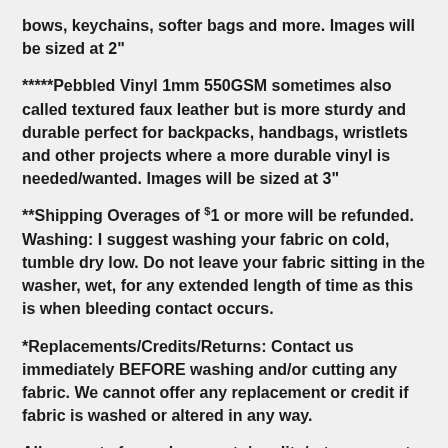bows, keychains, softer bags and more. Images will be sized at 2"
*****Pebbled Vinyl 1mm 550GSM sometimes also called textured faux leather but is more sturdy and durable perfect for backpacks, handbags, wristlets and other projects where a more durable vinyl is needed/wanted. Images will be sized at 3"
**Shipping Overages of $1 or more will be refunded. Washing: I suggest washing your fabric on cold, tumble dry low. Do not leave your fabric sitting in the washer, wet, for any extended length of time as this is when bleeding contact occurs.
*Replacements/Credits/Returns: Contact us immediately BEFORE washing and/or cutting any fabric. We cannot offer any replacement or credit if fabric is washed or altered in any way.
All requests for replacements/credits/returns, must be done within 3